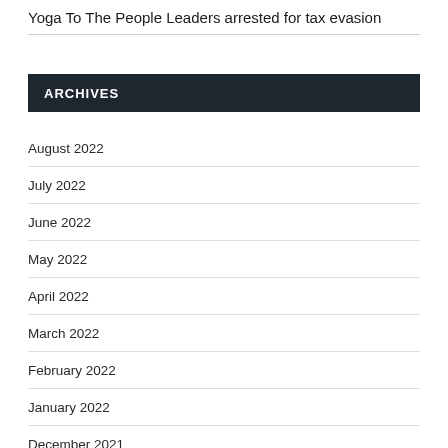Yoga To The People Leaders arrested for tax evasion
ARCHIVES
August 2022
July 2022
June 2022
May 2022
April 2022
March 2022
February 2022
January 2022
December 2021